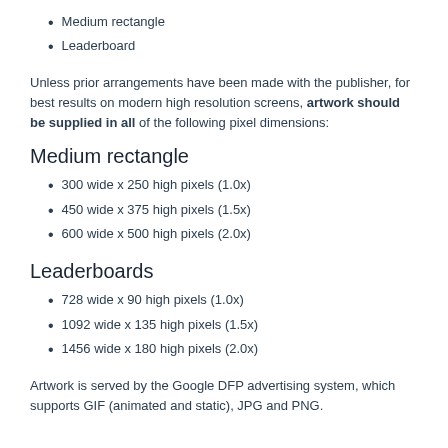Medium rectangle
Leaderboard
Unless prior arrangements have been made with the publisher, for best results on modern high resolution screens, artwork should be supplied in all of the following pixel dimensions:
Medium rectangle
300 wide x 250 high pixels (1.0x)
450 wide x 375 high pixels (1.5x)
600 wide x 500 high pixels (2.0x)
Leaderboards
728 wide x 90 high pixels (1.0x)
1092 wide x 135 high pixels (1.5x)
1456 wide x 180 high pixels (2.0x)
Artwork is served by the Google DFP advertising system, which supports GIF (animated and static), JPG and PNG.